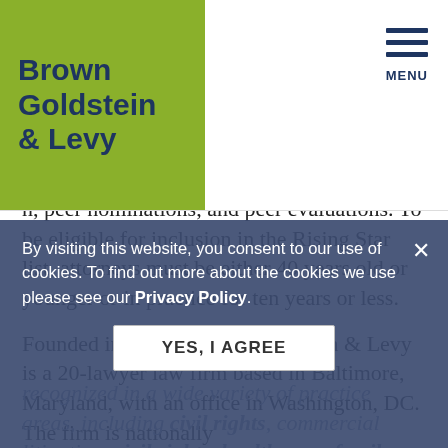[Figure (logo): Brown Goldstein & Levy law firm logo — white text on olive/green background square]
n, peer nominations, and peer evaluations. To be eligible for inclusion in the Rising Star list, attorneys must be either 40 years old or younger or in practice for ten years or less.
Founded in 1982, Brown, Goldstein & Levy is a 20-lawyer law firm based in Baltimore, Maryland, with an office in Washington, DC. The firm is nationally recognized in a wide variety of practice areas, including civil rights, commercial litigation, civil rights, health care, family law, and criminal defense. Above all else, Brown, Goldstein & Levy is a client-centered law firm with decades of experience bringing passionate, effective advocacy to
By visiting this website, you consent to our use of cookies. To find out more about the cookies we use please see our Privacy Policy.